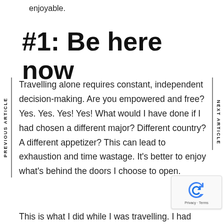enjoyable.
#1: Be here now
Travelling alone requires constant, independent decision-making. Are you empowered and free? Yes. Yes. Yes! Yes! What would I have done if I had chosen a different major? Different country? A different appetizer? This can lead to exhaustion and time wastage. It's better to enjoy what's behind the doors I choose to open.
This is what I did while I was travelling. I had